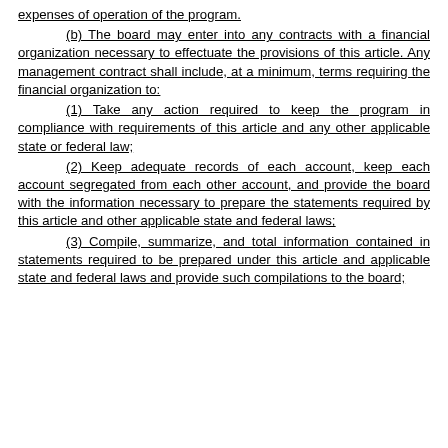expenses of operation of the program.
(b) The board may enter into any contracts with a financial organization necessary to effectuate the provisions of this article. Any management contract shall include, at a minimum, terms requiring the financial organization to:
(1) Take any action required to keep the program in compliance with requirements of this article and any other applicable state or federal law;
(2) Keep adequate records of each account, keep each account segregated from each other account, and provide the board with the information necessary to prepare the statements required by this article and other applicable state and federal laws;
(3) Compile, summarize, and total information contained in statements required to be prepared under this article and applicable state and federal laws and provide such compilations to the board;